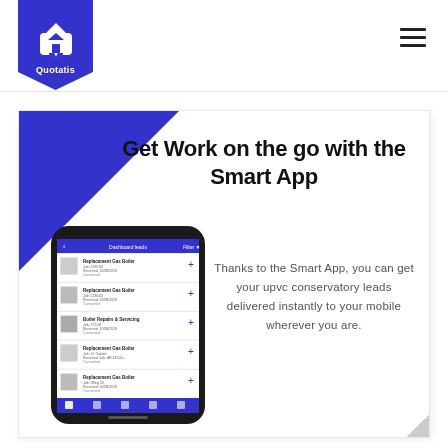[Figure (logo): Quotatis logo: white house/speech bubble icon on blue pentagon badge with text 'Quotatis']
[Figure (other): Hamburger menu icon (three horizontal lines) in top right navigation bar]
Get Work on the go with the Smart App
[Figure (screenshot): Smartphone mockup showing the Quotatis Smart App dashboard with list of leads including Replacement Gas Boiler, Boiler Repairs & Servicing jobs with images and plus buttons]
Thanks to the Smart App, you can get your upvc conservatory leads delivered instantly to your mobile wherever you are.